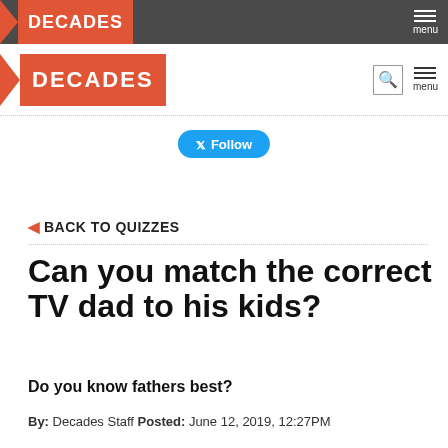DECADES
DECADES
[Figure (other): Twitter Follow button]
BACK TO QUIZZES
Can you match the correct TV dad to his kids?
Do you know fathers best?
By: Decades Staff Posted: June 12, 2019, 12:27PM